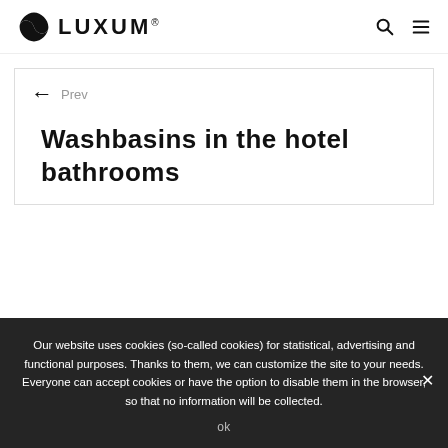LUXUM® [logo with search and menu icons]
← Prev
Washbasins in the hotel bathrooms
Our website uses cookies (so-called cookies) for statistical, advertising and functional purposes. Thanks to them, we can customize the site to your needs. Everyone can accept cookies or have the option to disable them in the browser, so that no information will be collected.
ok